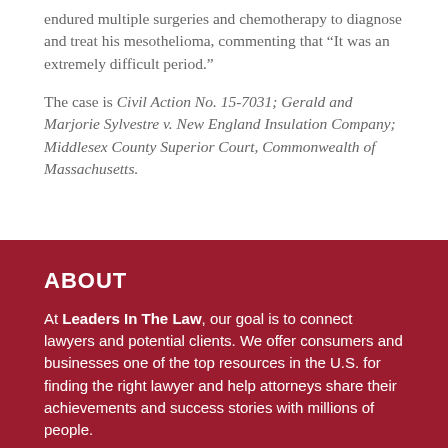endured multiple surgeries and chemotherapy to diagnose and treat his mesothelioma, commenting that “It was an extremely difficult period.”
The case is Civil Action No. 15-7031; Gerald and Marjorie Sylvestre v. New England Insulation Company; Middlesex County Superior Court, Commonwealth of Massachusetts.
ABOUT
At Leaders In The Law, our goal is to connect lawyers and potential clients. We offer consumers and businesses one of the top resources in the U.S. for finding the right lawyer and help attorneys share their achievements and success stories with millions of people.